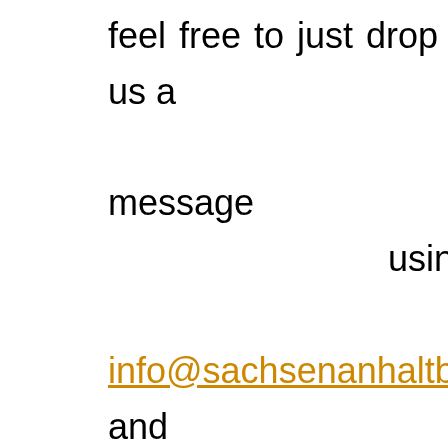feel free to just drop us a message using info@sachsenanhaltbus.de, and understandably detailing the passenger number, the tour route and further requirements. The more details you tell us